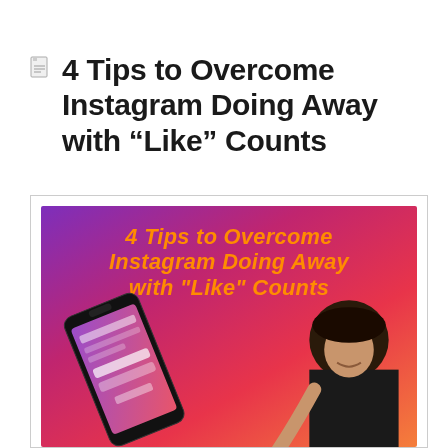4 Tips to Overcome Instagram Doing Away with “Like” Counts
[Figure (illustration): Promotional graphic with orange-to-pink-to-purple gradient background. Bold italic orange text reads '4 Tips to Overcome Instagram Doing Away with "Like" Counts'. A tilted smartphone showing the Instagram login screen is on the lower left. A woman with dark hair smiling and wearing a graduation cap is partially visible on the lower right.]